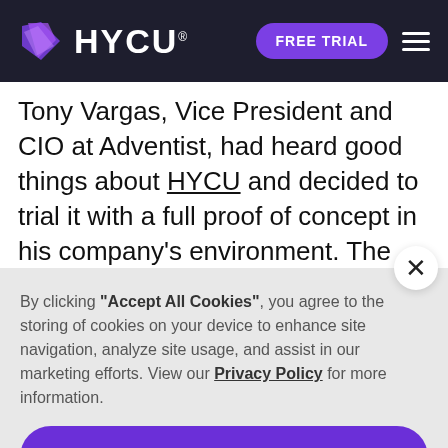HYCU — FREE TRIAL (navigation bar with logo and hamburger menu)
Tony Vargas, Vice President and CIO at Adventist, had heard good things about HYCU and decided to trial it with a full proof of concept in his company's environment. The HYCU difference was apparent
By clicking "Accept All Cookies", you agree to the storing of cookies on your device to enhance site navigation, analyze site usage, and assist in our marketing efforts. View our Privacy Policy for more information.
Accept
Deny